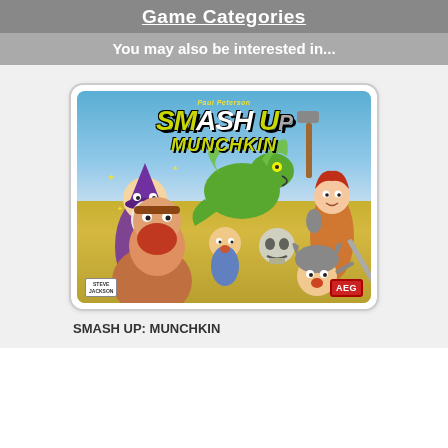Game Categories
You may also be interested in...
[Figure (illustration): Box art for the board game 'Smash Up: Munchkin' published by AEG and Steve Jackson Games. The cover shows cartoon-style fantasy characters including a wizard, barbarian, female warrior, a green dragon, and various adventurers in a chaotic scene. The title 'Smash Up Munchkin' is displayed prominently in yellow-green bold text. AEG logo in red bottom right, Steve Jackson logo bottom left, KayNie signature bottom center.]
SMASH UP: MUNCHKIN